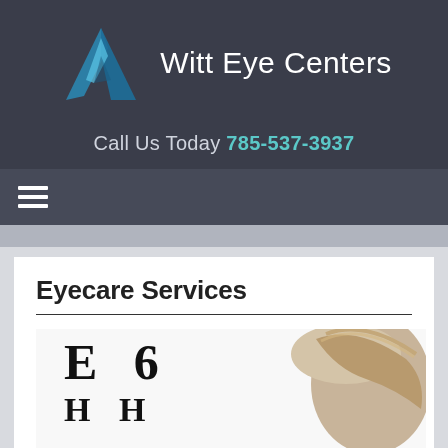[Figure (logo): Witt Eye Centers logo: blue geometric triangle/mountain shape alongside the text brand name]
Witt Eye Centers
Call Us Today 785-537-3937
Eyecare Services
[Figure (photo): Person looking at an eye chart showing large letters E, 6, H, H on a white background]